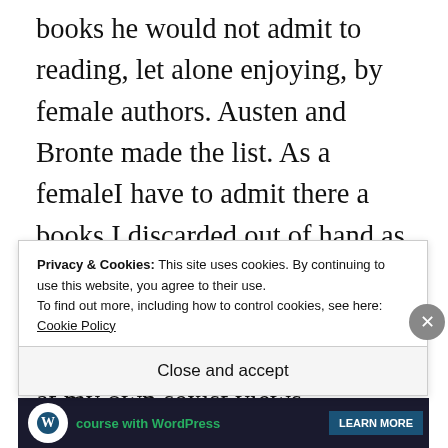books he would not admit to reading, let alone enjoying, by female authors. Austen and Bronte made the list. As a femaleI have to admit there a books I discarded out of hand as ‘too girly’ to read without attempting even attempting them. I need to look at my own sexist views, language and stereotypes.
Privacy & Cookies: This site uses cookies. By continuing to use this website, you agree to their use.
To find out more, including how to control cookies, see here: Cookie Policy
Close and accept